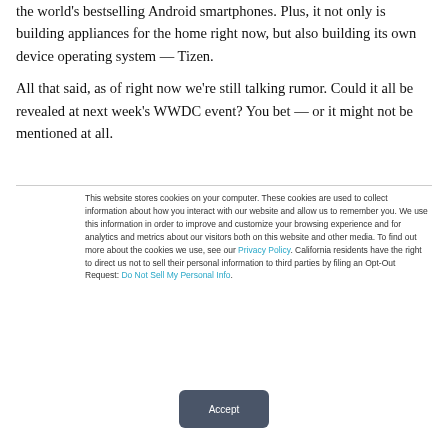the world's bestselling Android smartphones. Plus, it not only is building appliances for the home right now, but also building its own device operating system — Tizen.
All that said, as of right now we're still talking rumor. Could it all be revealed at next week's WWDC event? You bet — or it might not be mentioned at all.
This website stores cookies on your computer. These cookies are used to collect information about how you interact with our website and allow us to remember you. We use this information in order to improve and customize your browsing experience and for analytics and metrics about our visitors both on this website and other media. To find out more about the cookies we use, see our Privacy Policy. California residents have the right to direct us not to sell their personal information to third parties by filing an Opt-Out Request: Do Not Sell My Personal Info.
Accept